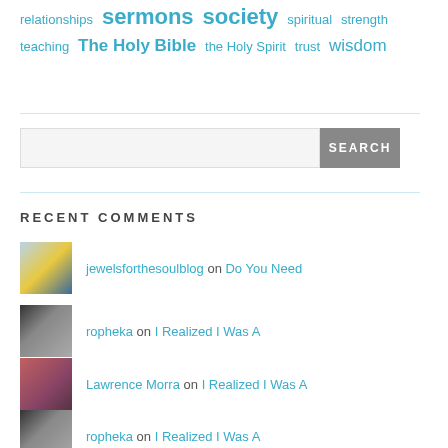relationships sermons society spiritual strength teaching The Holy Bible the Holy Spirit trust wisdom
RECENT COMMENTS
jewelsforthesoulblog on Do You Need
ropheka on I Realized I Was A
Lawrence Morra on I Realized I Was A
ropheka on I Realized I Was A